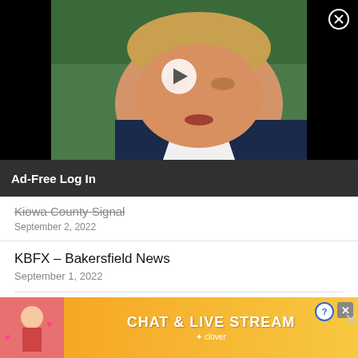[Figure (screenshot): Video thumbnail showing a person's face with a play button overlay, black background on sides, close button top right]
Ad-Free Log In
Kiowa County Signal
September 2, 2022
KBFX – Bakersfield News
September 1, 2022
Right News Wire
September 1, 2022
Glanbrook Gazette
[Figure (infographic): Orange advertisement banner: woman on beach with hearts, CHAT & LIVE STREAM text, clover logo, close button]